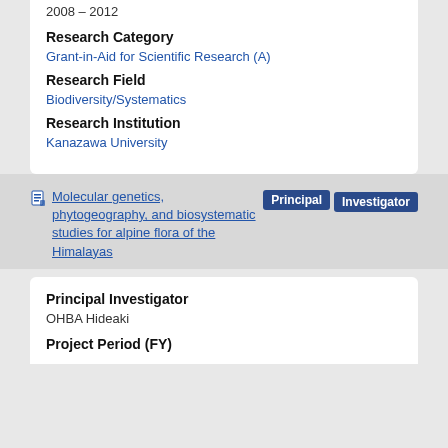2008 – 2012
Research Category
Grant-in-Aid for Scientific Research (A)
Research Field
Biodiversity/Systematics
Research Institution
Kanazawa University
Molecular genetics, phytogeography, and biosystematic studies for alpine flora of the Himalayas
Principal Investigator
OHBA Hideaki
Project Period (FY)